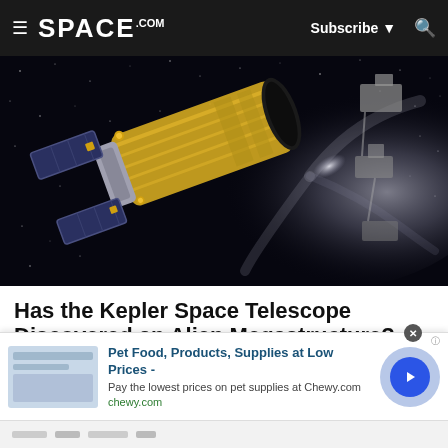SPACE.com — Subscribe — Search
[Figure (photo): Illustration of the Kepler space telescope in orbit, shown against a starfield with a spiral galaxy in the background. The telescope has gold-colored body with solar panels extending from the sides.]
Has the Kepler Space Telescope Discovered an Alien Megastructure?
NASA's Kepler space telescope has detected something
[Figure (other): Advertisement: Pet Food, Products, Supplies at Low Prices - Pay the lowest prices on pet supplies at Chewy.com — chewy.com]